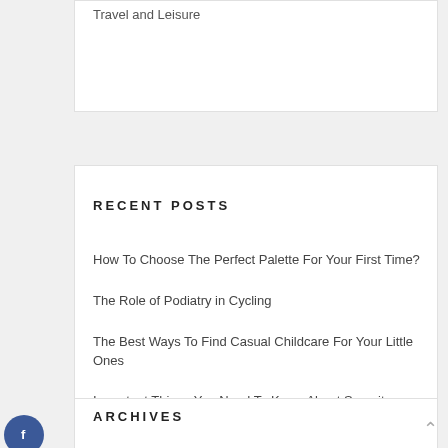Travel and Leisure
RECENT POSTS
How To Choose The Perfect Palette For Your First Time?
The Role of Podiatry in Cycling
The Best Ways To Find Casual Childcare For Your Little Ones
Important Things You Need To Know About Security Control Room
The Best Rechargeable Piano Keyboard For Beginners
ARCHIVES